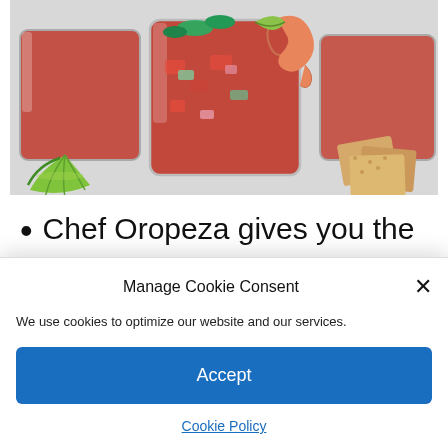[Figure (photo): Photo of shrimp cocktail drinks in glasses with lime wedge and crackers on the side, tomato-based red cocktail sauce with vegetables]
Chef Oropeza gives you the secret recipe to prepare a
Manage Cookie Consent
We use cookies to optimize our website and our services.
Accept
Cookie Policy